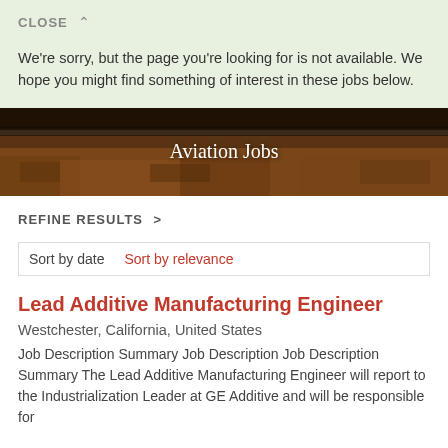CLOSE ^
We're sorry, but the page you're looking for is not available. We hope you might find something of interest in these jobs below.
[Figure (photo): Aviation Jobs hero banner — landscape photo with reddish-brown terrain and vegetation, overlaid with white text reading 'Aviation Jobs']
REFINE RESULTS >
Sort by date    Sort by relevance
Lead Additive Manufacturing Engineer
Westchester, California, United States
Job Description Summary Job Description Job Description Summary The Lead Additive Manufacturing Engineer will report to the Industrialization Leader at GE Additive and will be responsible for